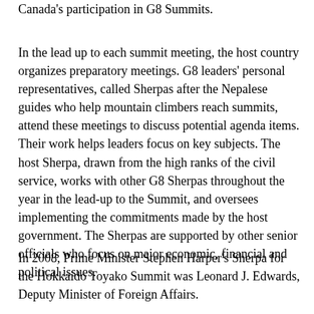Canada's participation in G8 Summits.
In the lead up to each summit meeting, the host country organizes preparatory meetings. G8 leaders' personal representatives, called Sherpas after the Nepalese guides who help mountain climbers reach summits, attend these meetings to discuss potential agenda items. Their work helps leaders focus on key subjects. The host Sherpa, drawn from the high ranks of the civil service, works with other G8 Sherpas throughout the year in the lead-up to the Summit, and oversees implementing the commitments made by the host government. The Sherpas are supported by other senior officials who focus on major economic, financial and political issues.
In 2008, Prime Minister Stephen Harper's Sherpa for the Hokkaido Toyako Summit was Leonard J. Edwards, Deputy Minister of Foreign Affairs.